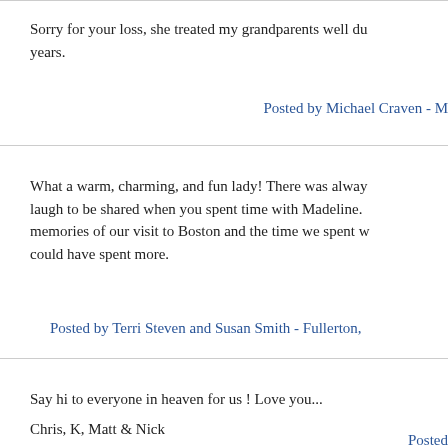Sorry for your loss, she treated my grandparents well du years.
Posted by Michael Craven - M
What a warm, charming, and fun lady! There was alway laugh to be shared when you spent time with Madeline. memories of our visit to Boston and the time we spent w could have spent more.
Posted by Terri Steven and Susan Smith - Fullerton,
Say hi to everyone in heaven for us ! Love you...
Chris, K, Matt & Nick
Posted